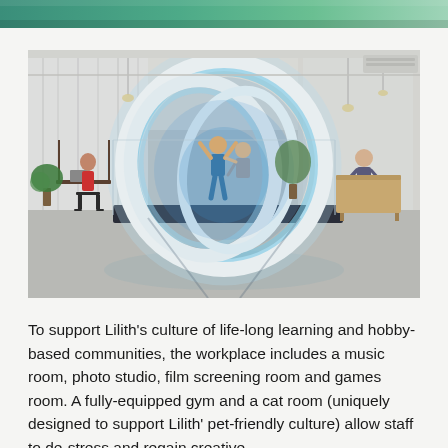[Figure (photo): Top edge of an image showing green/teal tones, partially cropped at the top of the page]
[Figure (photo): Interior office space with a large illuminated circular/ring sculpture installation made of white curved tubes with blue lighting. People are visible interacting with or near the sculpture. The space has concrete floors, white curtains, pendant lights, and an open modern office aesthetic.]
To support Lilith’s culture of life-long learning and hobby-based communities, the workplace includes a music room, photo studio, film screening room and games room. A fully-equipped gym and a cat room (uniquely designed to support Lilith’ pet-friendly culture) allow staff to de-stress and regain creative